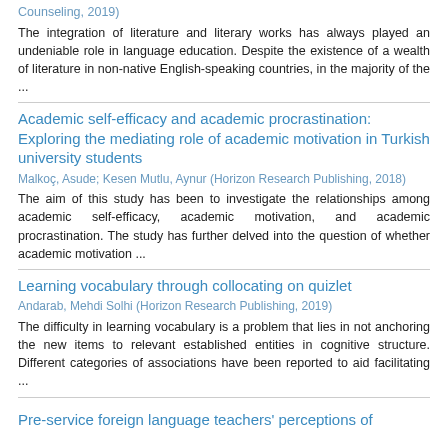Counseling, 2019)
The integration of literature and literary works has always played an undeniable role in language education. Despite the existence of a wealth of literature in non-native English-speaking countries, in the majority of the ...
Academic self-efficacy and academic procrastination: Exploring the mediating role of academic motivation in Turkish university students
Malkoç, Asude; Kesen Mutlu, Aynur (Horizon Research Publishing, 2018)
The aim of this study has been to investigate the relationships among academic self-efficacy, academic motivation, and academic procrastination. The study has further delved into the question of whether academic motivation ...
Learning vocabulary through collocating on quizlet
Andarab, Mehdi Solhi (Horizon Research Publishing, 2019)
The difficulty in learning vocabulary is a problem that lies in not anchoring the new items to relevant established entities in cognitive structure. Different categories of associations have been reported to aid facilitating ...
Pre-service foreign language teachers' perceptions of